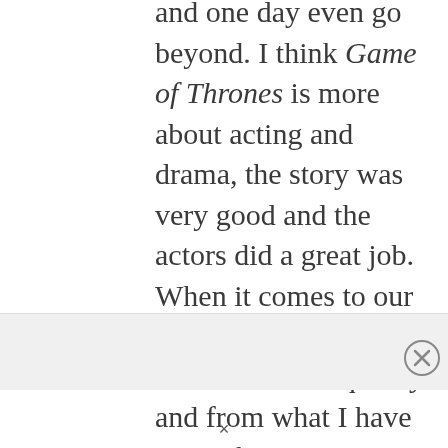and one day even go beyond. I think Game of Thrones is more about acting and drama, the story was very good and the actors did a great job. When it comes to our action scenes I can vouch for their quality and from what I have seen of the actual footage they are very good. It’s hard to know whether the fans will like the acting and the dramatic
Advertisements